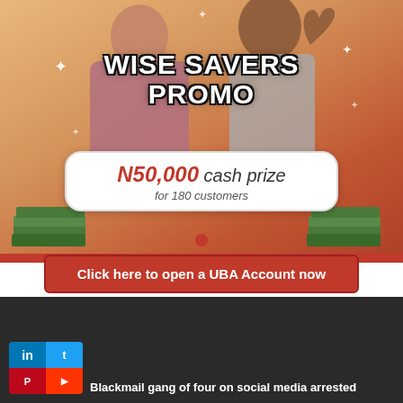[Figure (illustration): UBA Wise Savers Promo advertisement banner. Shows two people celebrating (woman in traditional outfit and man in grey shirt with raised fist) against an orange/warm gradient background. Large white text reads WISE SAVERS PROMO. A white rounded rectangle badge shows N50,000 cash prize for 180 customers. Red CTA button: Click here to open a UBA Account now. Money stacks and sparkle decorations visible.]
Blackmail gang of four on social media arrested